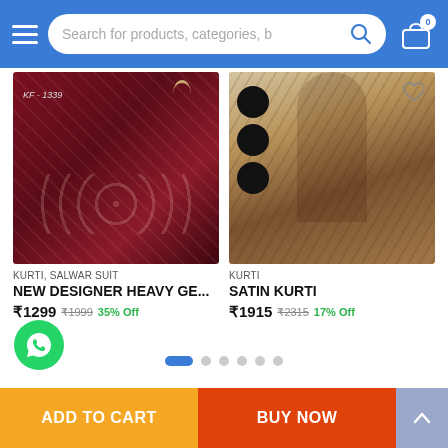[Figure (screenshot): E-commerce app header with hamburger menu, search bar, and cart icon on blue background]
[Figure (photo): Dark maroon embroidered kurti/salwar suit laid flat with label KF-1339]
KURTI, SALWAR SUIT
NEW DESIGNER HEAVY GE...
₹1299  ₹1999  35% Off
[Figure (photo): Brown printed long flowy kurti/maxi dress worn by a model with black circle swatches]
KURTI
SATIN KURTI
₹1915  ₹2315  17% Off
ADD TO CART
BUY NOW